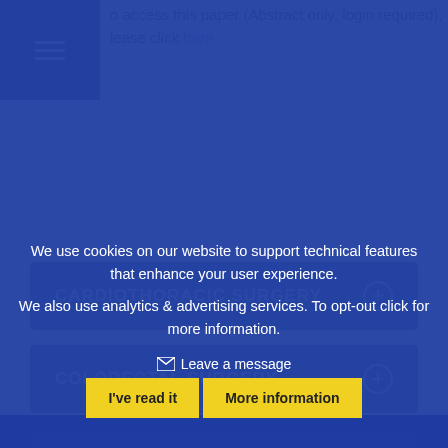o access this paper (Abstract only, login required), lease click here
CARDIOTHORACIC SURGERY
COLORECTAL SURGERY
We use cookies on our website to support technical features that enhance your user experience.
We also use analytics & advertising services. To opt-out click for more information.
Leave a message
I've read it
More information